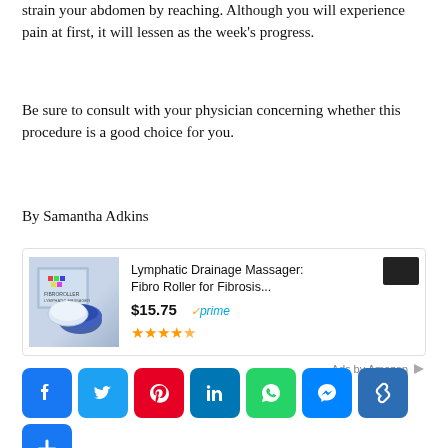strain your abdomen by reaching. Although you will experience pain at first, it will lessen as the week's progress.
Be sure to consult with your physician concerning whether this procedure is a good choice for you.
By Samantha Adkins
[Figure (other): Amazon advertisement for Lymphatic Drainage Massager: Fibro Roller for Fibrosis... priced at $15.75 with Prime badge and 4.5 star rating. Ads by Amazon label with arrow icon.]
[Figure (other): Social media sharing buttons: Facebook, Twitter, Pinterest, LinkedIn, WhatsApp, Messenger, Copy Link, and More (+)]